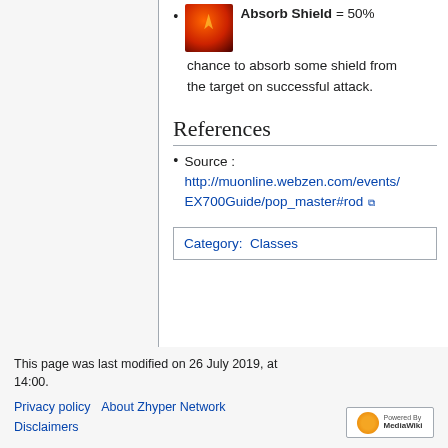Absorb Shield = 50% chance to absorb some shield from the target on successful attack.
References
Source : http://muonline.webzen.com/events/EX700Guide/pop_master#rod
| Category: | Classes |
| --- | --- |
This page was last modified on 26 July 2019, at 14:00.
Privacy policy   About Zhyper Network
Disclaimers